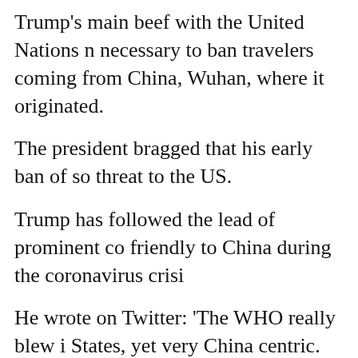Trump's main beef with the United Nations necessary to ban travelers coming from China, Wuhan, where it originated.
The president bragged that his early ban of so threat to the US.
Trump has followed the lead of prominent co friendly to China during the coronavirus crisi
He wrote on Twitter: 'The WHO really blew i States, yet very China centric. We will be giv
Vice President Mike Pence also weighed in o will be asking 'tough questions' of the WHO i
He said: 'This is a president who believes in a tens of millions of dollars to the World Health yesterday, I suspect we will continue to do th